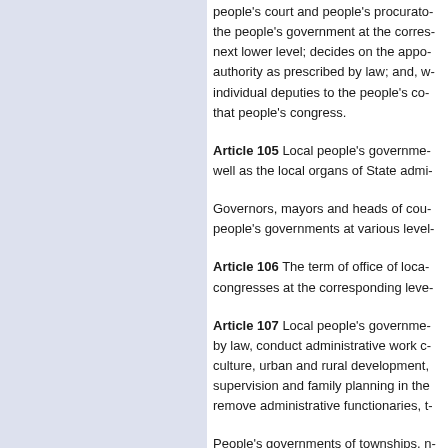people's court and people's procurato... the people's government at the corres... next lower level; decides on the appo... authority as prescribed by law; and, w... individual deputies to the people's co... that people's congress.
Article 105 Local people's governme... well as the local organs of State admi...
Governors, mayors and heads of cou... people's governments at various level...
Article 106 The term of office of loca... congresses at the corresponding leve...
Article 107 Local people's governme... by law, conduct administrative work c... culture, urban and rural development,... supervision and family planning in the... remove administrative functionaries, t...
People's governments of townships, n...